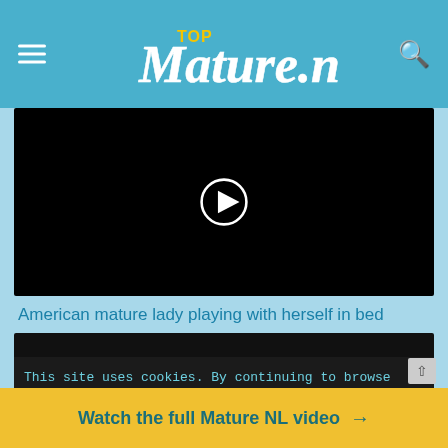TopMature.nl
[Figure (screenshot): Black video player thumbnail with a white play button circle in the center]
American mature lady playing with herself in bed
[Figure (screenshot): Second dark video player thumbnail, partially visible]
This site uses cookies. By continuing to browse the site you
Watch the full Mature NL video →